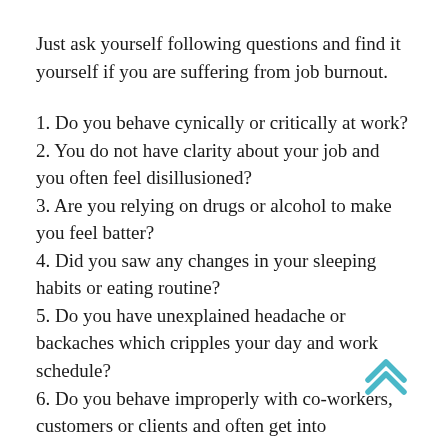Just ask yourself following questions and find it yourself if you are suffering from job burnout.
1. Do you behave cynically or critically at work?
2. You do not have clarity about your job and you often feel disillusioned?
3. Are you relying on drugs or alcohol to make you feel batter?
4. Did you saw any changes in your sleeping habits or eating routine?
5. Do you have unexplained headache or backaches which cripples your day and work schedule?
6. Do you behave improperly with co-workers, customers or clients and often get into